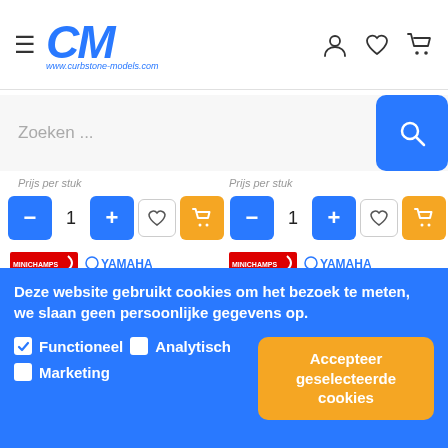[Figure (screenshot): Website header with hamburger menu, CM logo in blue italic, www.curbstone-models.com URL, user/heart/cart icons on right]
[Figure (screenshot): Search bar with 'Zoeken ...' placeholder and blue search button]
Prijs per stuk
Prijs per stuk
[Figure (screenshot): Quantity control row left: blue minus button, 1, blue plus button, heart button, yellow cart button]
[Figure (screenshot): Quantity control row right: blue minus button, 1, blue plus button, heart button, yellow cart button]
[Figure (photo): Minichamps and Yamaha branded motorcycle model - Maverick Vinales]
[Figure (photo): Minichamps and Yamaha branded motorcycle model - Valentino Rossi]
Maverick Vinales
Valentino Rossi
Deze website gebruikt cookies om het bezoek te meten, we slaan geen persoonlijke gegevens op.
Functioneel
Analytisch
Marketing
Accepteer geselecteerde cookies